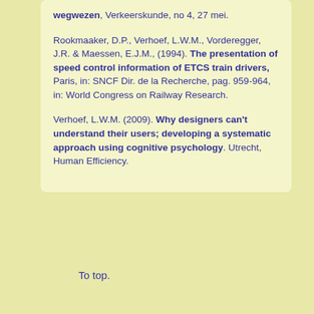Lnichzei: in wegwezen, Verkeerskunde, no 4, 27 mei.
Rookmaaker, D.P., Verhoef, L.W.M., Vorderegger, J.R. & Maessen, E.J.M., (1994). The presentation of speed control information of ETCS train drivers, Paris, in: SNCF Dir. de la Recherche, pag. 959-964, in: World Congress on Railway Research.
Verhoef, L.W.M. (2009). Why designers can't understand their users; developing a systematic approach using cognitive psychology. Utrecht, Human Efficiency.
To top.